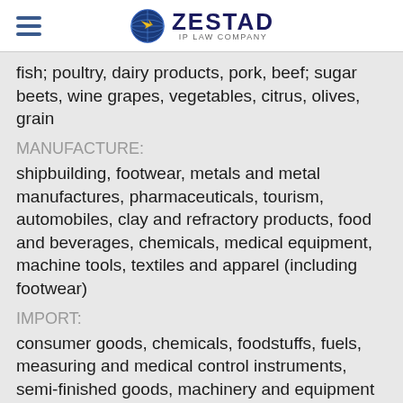ZESTAD IP LAW COMPANY
fish; poultry, dairy products, pork, beef; sugar beets, wine grapes, vegetables, citrus, olives, grain
MANUFACTURE:
shipbuilding, footwear, metals and metal manufactures, pharmaceuticals, tourism, automobiles, clay and refractory products, food and beverages, chemicals, medical equipment, machine tools, textiles and apparel (including footwear)
IMPORT:
consumer goods, chemicals, foodstuffs, fuels, measuring and medical control instruments, semi-finished goods, machinery and equipment